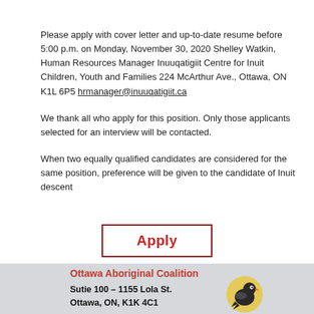Please apply with cover letter and up-to-date resume before 5:00 p.m. on Monday, November 30, 2020 Shelley Watkin, Human Resources Manager Inuuqatigiit Centre for Inuit Children, Youth and Families 224 McArthur Ave., Ottawa, ON K1L 6P5 hrmanager@inuuqatigiit.ca
We thank all who apply for this position. Only those applicants selected for an interview will be contacted.
When two equally qualified candidates are considered for the same position, preference will be given to the candidate of Inuit descent
[Figure (other): Apply button — bordered rectangle with red bold text 'Apply']
Ottawa Aboriginal Coalition
Sutie 100 – 1155 Lola St.
Ottawa, ON, K1K 4C1
[Figure (logo): Ottawa Aboriginal Coalition bird logo — illustrated bird in yellow/dark colors]